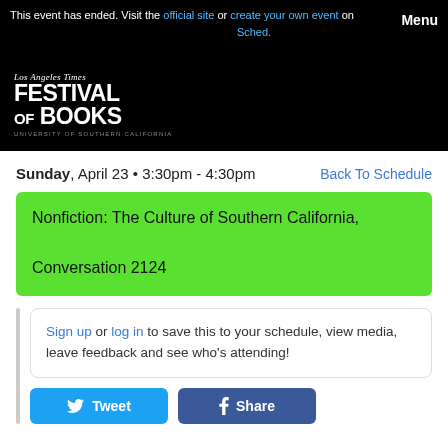This event has ended. Visit the official site or create your own event on Sched.
[Figure (logo): Los Angeles Times Festival of Books logo, University of Southern California]
Sunday, April 23 • 3:30pm - 4:30pm
Back To Schedule
Nonfiction: The Culture of Southern California, Conversation 2124
Sign up or log in to save this to your schedule, view media, leave feedback and see who's attending!
Tweet  Share